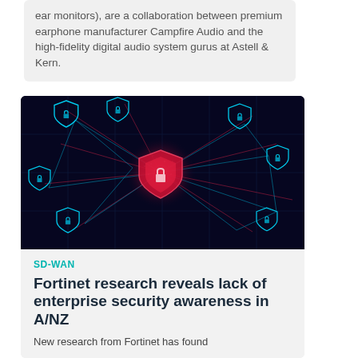ear monitors), are a collaboration between premium earphone manufacturer Campfire Audio and the high-fidelity digital audio system gurus at Astell & Kern.
[Figure (photo): Dark background cybersecurity image showing multiple glowing blue shield icons connected by a network grid of lines, with a central shield highlighted in red/pink light suggesting a threat or breach.]
SD-WAN
Fortinet research reveals lack of enterprise security awareness in A/NZ
New research from Fortinet has found